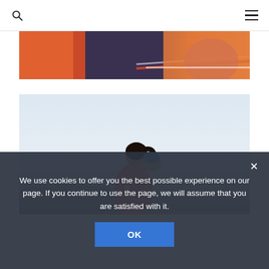Navigation bar with search icon and hamburger menu
[Figure (photo): Top partial photo strip showing people in colorful clothing with orange and striped fabric visible]
[Figure (photo): Main photo showing a woman with long dark hair in a floral top holding a baby wearing a blue cap, set against a light sky background]
We use cookies to offer you the best possible experience on our page. If you continue to use the page, we will assume that you are satisfied with it.
OK